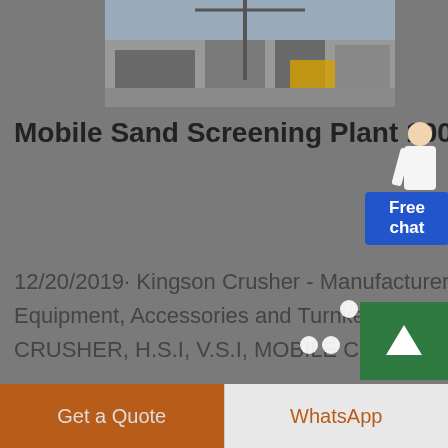[Figure (photo): Partial view of a stone crushing plant or industrial machinery, photographed at a construction/mining site]
Mobile Sand Screening Plant 100 TPH (KINGSON CRUSHER ...
12/20/2019· Kingson Crusher - Manufacturer of All kings of Stone Crushing Equipment, Accessories and Turnkey Plants including JAW CRUSHER, CONE CRUSHER, H.S.I, V.S.I, MOBILE CRUSHER, CRAWLERS
[Figure (illustration): Customer support avatar with Free chat button in blue]
Get a Quote
WhatsApp